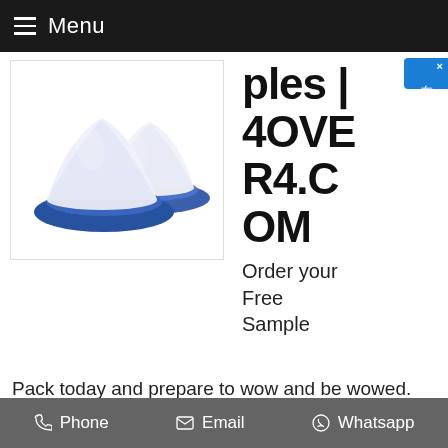Menu
[Figure (photo): White powder heaped in two blue ceramic dishes/plates, on a white background]
ples | 4OVER4.COM
Order your Free Sample Pack today and prepare to wow and be wowed. Prepare to be wowed Your Sample Pack is on its way! If you have any questions please call 718-932700 or email support@4over4.com
Phone   Email   Whatsapp